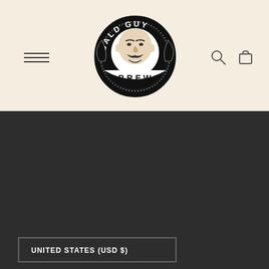[Figure (logo): Bald Guy Brew circular logo with illustrated bald man face, mustache, text BALD GUY BREW around perimeter]
[Figure (illustration): Hamburger menu icon - three horizontal lines]
[Figure (illustration): Search magnifying glass icon]
[Figure (illustration): Shopping cart/bag icon]
UNITED STATES (USD $)
[Figure (infographic): Payment method icons: Amazon, American Express, Apple Pay, Diners Club, Discover, Meta Pay, Google Pay, Mastercard, PayPal, Shop Pay, Venmo, Visa]
Bald Guy Brew Coffee Roasting Co. • Powered by Shopify